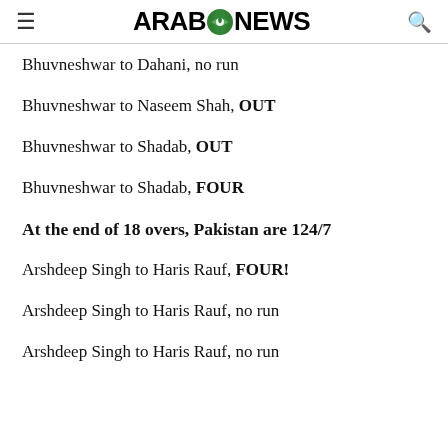ARAB NEWS
Bhuvneshwar to Dahani, no run
Bhuvneshwar to Naseem Shah, OUT
Bhuvneshwar to Shadab, OUT
Bhuvneshwar to Shadab, FOUR
At the end of 18 overs, Pakistan are 124/7
Arshdeep Singh to Haris Rauf, FOUR!
Arshdeep Singh to Haris Rauf, no run
Arshdeep Singh to Haris Rauf, no run